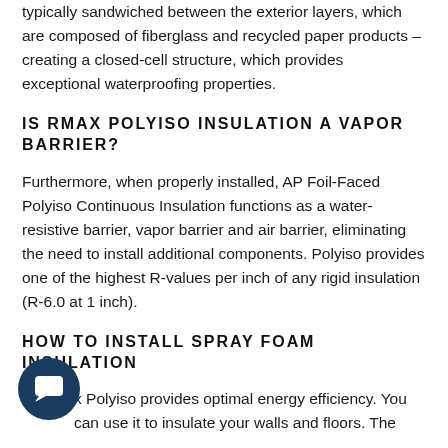typically sandwiched between the exterior layers, which are composed of fiberglass and recycled paper products – creating a closed-cell structure, which provides exceptional waterproofing properties.
IS RMAX POLYISO INSULATION A VAPOR BARRIER?
Furthermore, when properly installed, AP Foil-Faced Polyiso Continuous Insulation functions as a water-resistive barrier, vapor barrier and air barrier, eliminating the need to install additional components. Polyiso provides one of the highest R-values per inch of any rigid insulation (R-6.0 at 1 inch).
HOW TO INSTALL SPRAY FOAM INSULATION
x Polyiso provides optimal energy efficiency. You can use it to insulate your walls and floors. The